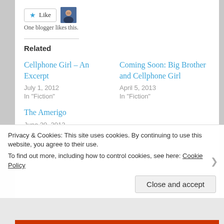[Figure (illustration): Like button with star icon and a user avatar thumbnail]
One blogger likes this.
Related
Cellphone Girl – An Excerpt
July 1, 2012
In "Fiction"
Coming Soon: Big Brother and Cellphone Girl
April 5, 2013
In "Fiction"
The Amerigo
June 20, 2012
Privacy & Cookies: This site uses cookies. By continuing to use this website, you agree to their use.
To find out more, including how to control cookies, see here: Cookie Policy
Close and accept